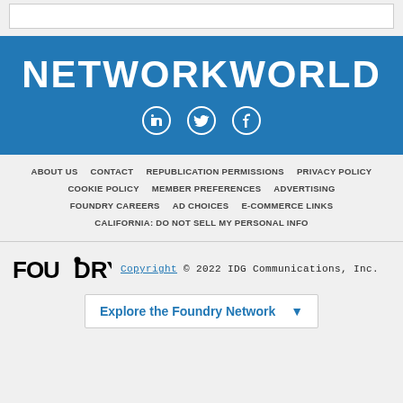[Figure (logo): NetworkWorld logo with social media icons (LinkedIn, Twitter, Facebook) on blue background]
ABOUT US | CONTACT | REPUBLICATION PERMISSIONS | PRIVACY POLICY | COOKIE POLICY | MEMBER PREFERENCES | ADVERTISING | FOUNDRY CAREERS | AD CHOICES | E-COMMERCE LINKS | CALIFORNIA: DO NOT SELL MY PERSONAL INFO
FOUNDRY Copyright © 2022 IDG Communications, Inc.
Explore the Foundry Network